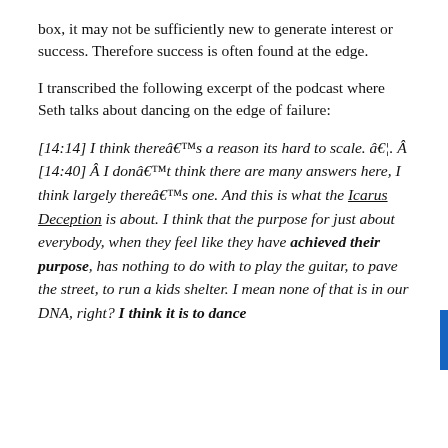box, it may not be sufficiently new to generate interest or success. Therefore success is often found at the edge.
I transcribed the following excerpt of the podcast where Seth talks about dancing on the edge of failure:
[14:14] I think thereâ€™s a reason its hard to scale. â€¦. Â [14:40] Â I donâ€™t think there are many answers here, I think largely thereâ€™s one. And this is what the Icarus Deception is about. I think that the purpose for just about everybody, when they feel like they have achieved their purpose, has nothing to do with to play the guitar, to pave the street, to run a kids shelter. I mean none of that is in our DNA, right? I think it is to dance